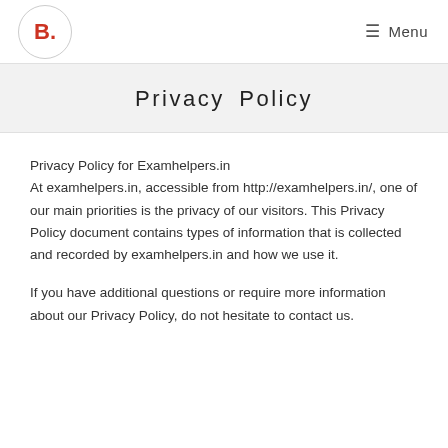B. Menu
Privacy Policy
Privacy Policy for Examhelpers.in
At examhelpers.in, accessible from http://examhelpers.in/, one of our main priorities is the privacy of our visitors. This Privacy Policy document contains types of information that is collected and recorded by examhelpers.in and how we use it.
If you have additional questions or require more information about our Privacy Policy, do not hesitate to contact us.